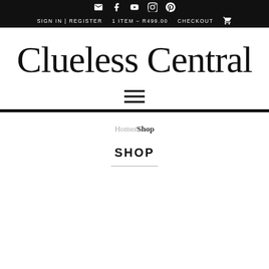✉ f YouTube Instagram Pinterest | SIGN IN | REGISTER   1 ITEM – R499.00   CHECKOUT 🛒
Clueless Central
[Figure (other): Hamburger menu icon (three horizontal lines)]
Home / Shop
SHOP